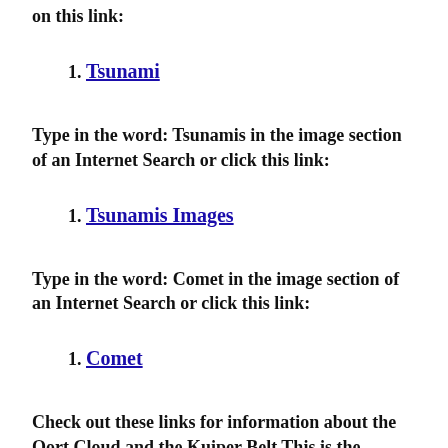on this link:
1. Tsunami
Type in the word: Tsunamis in the image section of an Internet Search or click this link:
1. Tsunamis Images
Type in the word: Comet in the image section of an Internet Search or click this link:
1. Comet
Check out these links for information about the Oort Cloud and the Kuiper Belt This is the